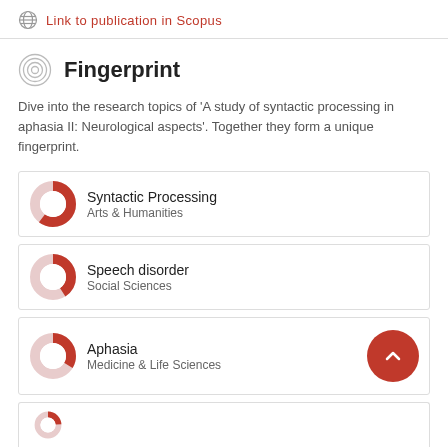Link to publication in Scopus
Fingerprint
Dive into the research topics of 'A study of syntactic processing in aphasia II: Neurological aspects'. Together they form a unique fingerprint.
Syntactic Processing
Arts & Humanities
Speech disorder
Social Sciences
Aphasia
Medicine & Life Sciences